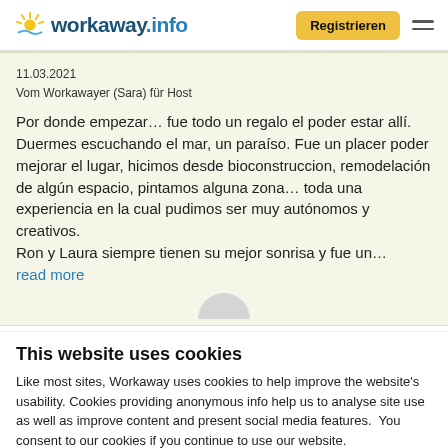workaway.info | Registrieren
11.03.2021
Vom Workawayer (Sara) für Host
Por donde empezar… fue todo un regalo el poder estar allí. Duermes escuchando el mar, un paraíso. Fue un placer poder mejorar el lugar, hicimos desde bioconstruccion, remodelación de algún espacio, pintamos alguna zona… toda una experiencia en la cual pudimos ser muy autónomos y creativos.
Ron y Laura siempre tienen su mejor sonrisa y fue un…
read more
This website uses cookies
Like most sites, Workaway uses cookies to help improve the website's usability. Cookies providing anonymous info help us to analyse site use as well as improve content and present social media features.  You consent to our cookies if you continue to use our website.
OK
Settings